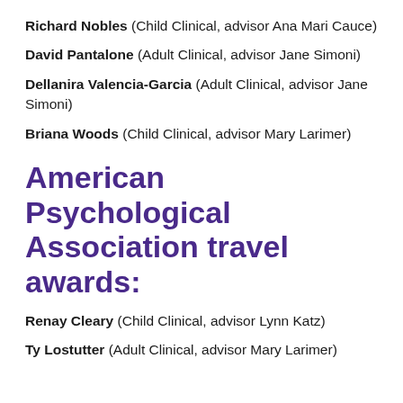Richard Nobles (Child Clinical, advisor Ana Mari Cauce)
David Pantalone (Adult Clinical, advisor Jane Simoni)
Dellanira Valencia-Garcia (Adult Clinical, advisor Jane Simoni)
Briana Woods (Child Clinical, advisor Mary Larimer)
American Psychological Association travel awards:
Renay Cleary (Child Clinical, advisor Lynn Katz)
Ty Lostutter (Adult Clinical, advisor Mary Larimer)